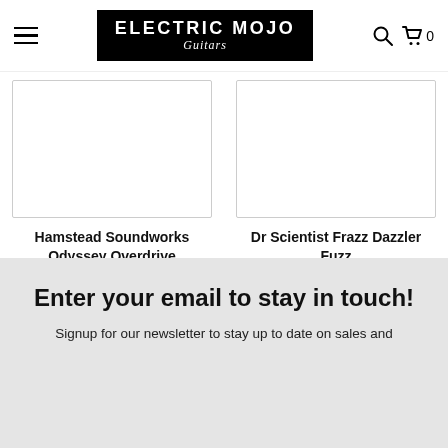Electric Mojo Guitars — navigation header with hamburger menu, logo, search and cart icons
[Figure (photo): Product image placeholder for Hamstead Soundworks Odyssey Overdrive — white rectangle with light border]
Hamstead Soundworks Odyssey Overdrive
$329.00
[Figure (photo): Product image placeholder for Dr Scientist Frazz Dazzler Fuzz — white rectangle with light border]
Dr Scientist Frazz Dazzler Fuzz
$219.00
Enter your email to stay in touch!
Signup for our newsletter to stay up to date on sales and